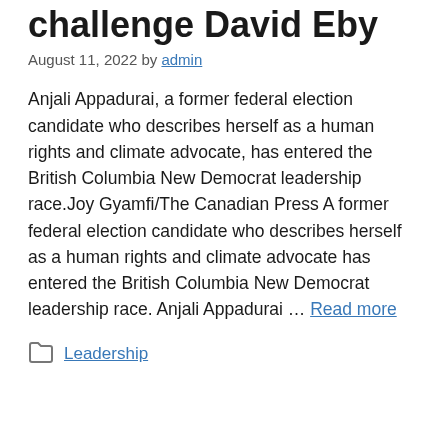challenge David Eby
August 11, 2022 by admin
Anjali Appadurai, a former federal election candidate who describes herself as a human rights and climate advocate, has entered the British Columbia New Democrat leadership race.Joy Gyamfi/The Canadian Press A former federal election candidate who describes herself as a human rights and climate advocate has entered the British Columbia New Democrat leadership race. Anjali Appadurai … Read more
Leadership